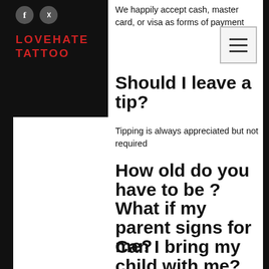[Figure (logo): LoveHate Tattoo logo with Facebook and Instagram social icons on dark background, top-left corner]
We happily accept cash, master card, or visa as forms of payment
[Figure (other): Hamburger menu icon (three horizontal lines) in a light bordered box]
Should I leave a tip?
Tipping is always appreciated but not required
How old do you have to be ? What if my parent signs for me?
NYS law states YOU MUST BE 18+ WITH A VAILD PHOTO ID TO GET TATTOOED. NO EXCEPTIONS, INCLUDING PARENTAL CONSENT
Can I bring my child with me?